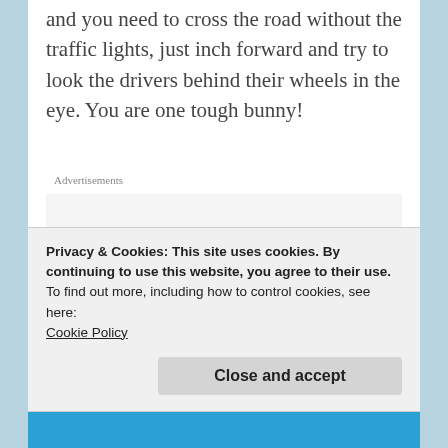and you need to cross the road without the traffic lights, just inch forward and try to look the drivers behind their wheels in the eye. You are one tough bunny!
Advertisements
You manage all that, and you will arrive at the oasis. Green everywhere, people fishing, cars slightly following the rules (since the military is
Privacy & Cookies: This site uses cookies. By continuing to use this website, you agree to their use.
To find out more, including how to control cookies, see here:
Cookie Policy
Close and accept